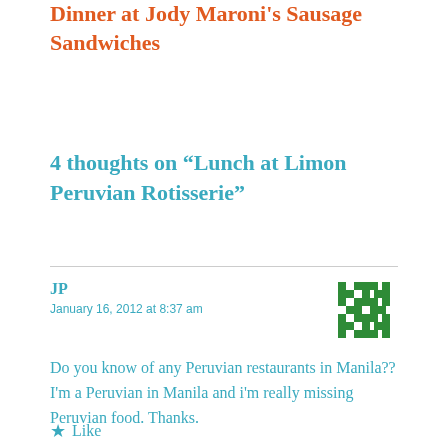Dinner at Jody Maroni's Sausage Sandwiches
4 thoughts on “Lunch at Limon Peruvian Rotisserie”
JP
January 16, 2012 at 8:37 am
[Figure (illustration): Green pixel/geometric avatar icon for commenter JP]
Do you know of any Peruvian restaurants in Manila?? I'm a Peruvian in Manila and i'm really missing Peruvian food. Thanks.
Like